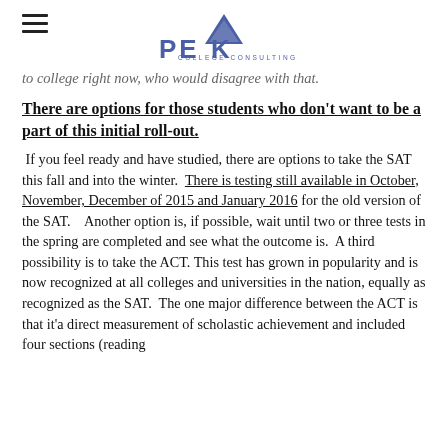PEAK COLLEGE CONSULTING
to college right now, who would disagree with that.
There are options for those students who don't want to be a part of this initial roll-out.
If you feel ready and have studied, there are options to take the SAT this fall and into the winter. There is testing still available in October, November, December of 2015 and January 2016 for the old version of the SAT. Another option is, if possible, wait until two or three tests in the spring are completed and see what the outcome is. A third possibility is to take the ACT. This test has grown in popularity and is now recognized at all colleges and universities in the nation, equally as recognized as the SAT. The one major difference between the ACT is that it'a direct measurement of scholastic achievement and included four sections (reading